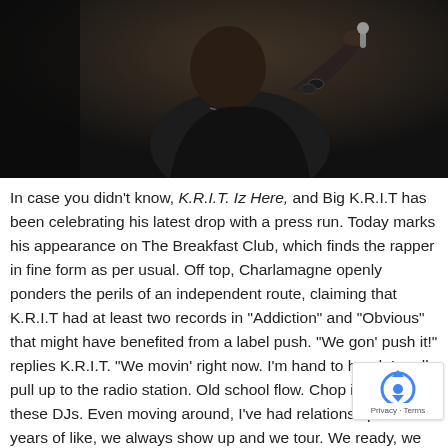[Figure (photo): Photo of Big K.R.I.T. performing on stage, holding a microphone, wearing a black t-shirt, bracelets, and a chain necklace. Dark background.]
In case you didn't know, K.R.I.T. Iz Here, and Big K.R.I.T has been celebrating his latest drop with a press run. Today marks his appearance on The Breakfast Club, which finds the rapper in fine form as per usual. Off top, Charlamagne openly ponders the perils of an independent route, claiming that K.R.I.T had at least two records in "Addiction" and "Obvious" that might have benefited from a label push. "We gon' push it!" replies K.R.I.T. "We movin' right now. I'm hand to hand, I really pull up to the radio station. Old school flow. Chop it up with these DJs. Even moving around, I've had relationships over years of like, we always show up and we tour. We ready, we prepared for this."
Envy inquires about the money situation, and K.R.I.T confirms that